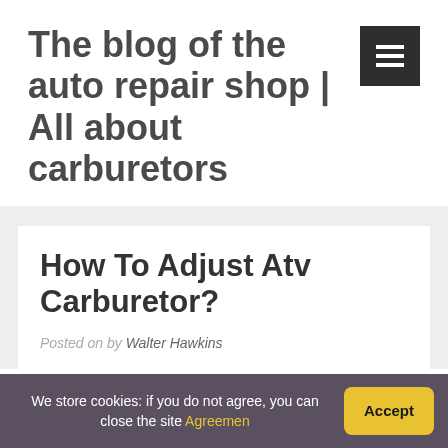The blog of the auto repair shop | All about carburetors
How To Adjust Atv Carburetor?
Posted on by Walter Hawkins
We store cookies: if you do not agree, you can close the site Agreemen